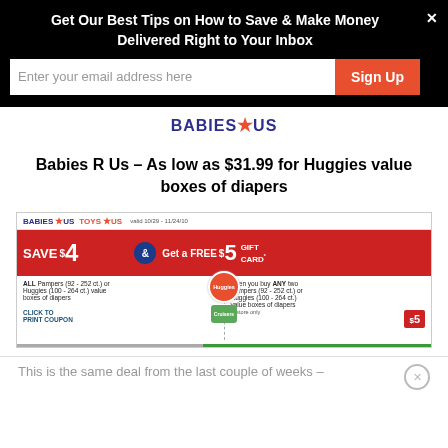Get Our Best Tips on How to Save & Make Money Delivered Right to Your Inbox
Enter your email address here
[Figure (logo): Babies R Us logo in blue with red star]
Babies R Us – As low as $31.99 for Huggies value boxes of diapers
[Figure (screenshot): Babies R Us / Toys R Us coupon: Save $4 on ALL Pampers (92-252 ct.) or Huggies (100-264 ct.) value boxes of diapers, and Get a FREE $5 Gift Card when you buy ANY two Pampers (92-252 ct.) or Huggies (100-264 ct.) value boxes of diapers. Valid 10/29-11/24/10. Click to Print Coupon.]
This is the same deal from the last couple of weeks –